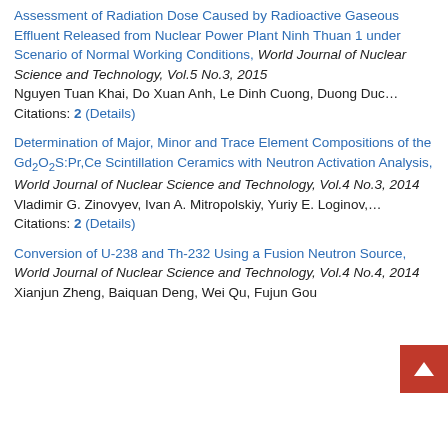Assessment of Radiation Dose Caused by Radioactive Gaseous Effluent Released from Nuclear Power Plant Ninh Thuan 1 under Scenario of Normal Working Conditions, World Journal of Nuclear Science and Technology, Vol.5 No.3, 2015
Nguyen Tuan Khai, Do Xuan Anh, Le Dinh Cuong, Duong Duc…
Citations: 2 (Details)
Determination of Major, Minor and Trace Element Compositions of the Gd2O2S:Pr,Ce Scintillation Ceramics with Neutron Activation Analysis, World Journal of Nuclear Science and Technology, Vol.4 No.3, 2014
Vladimir G. Zinovyev, Ivan A. Mitropolskiy, Yuriy E. Loginov,…
Citations: 2 (Details)
Conversion of U-238 and Th-232 Using a Fusion Neutron Source, World Journal of Nuclear Science and Technology, Vol.4 No.4, 2014
Xianjun Zheng, Baiquan Deng, Wei Qu, Fujun Gou